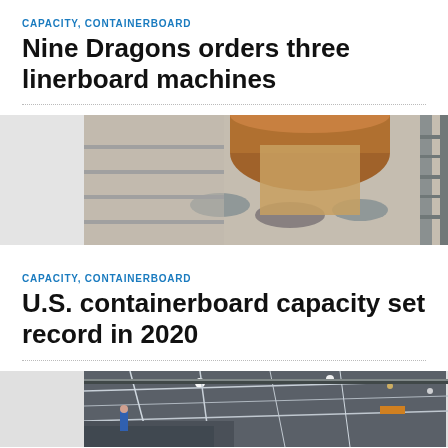CAPACITY, CONTAINERBOARD
Nine Dragons orders three linerboard machines
[Figure (photo): Industrial paper/linerboard machine with large brown paper roll on rollers in a factory setting]
CAPACITY, CONTAINERBOARD
U.S. containerboard capacity set record in 2020
[Figure (photo): Interior of a large industrial facility/papermaking plant with machinery and scaffolding under bright lights]